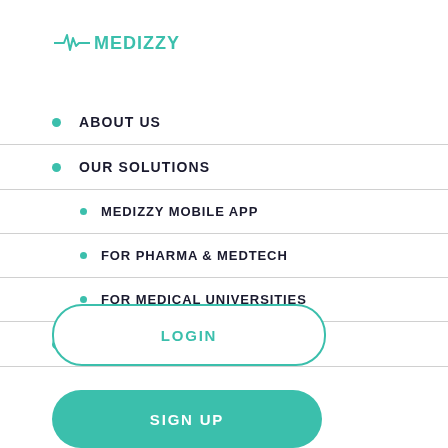[Figure (logo): Medizzy logo with ECG waveform and teal text]
ABOUT US
OUR SOLUTIONS
MEDIZZY MOBILE APP
FOR PHARMA & MEDTECH
FOR MEDICAL UNIVERSITIES
CONTACT
LOGIN
SIGN UP